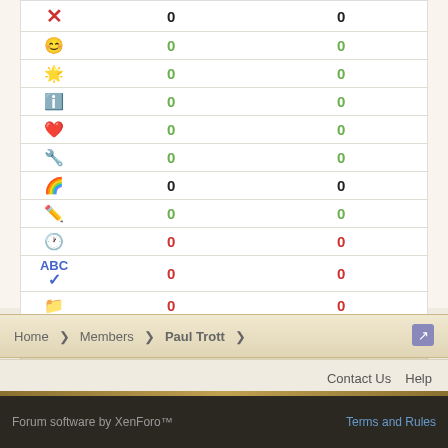| Icon | Col1 | Col2 |
| --- | --- | --- |
| ✗ | 0 | 0 |
| 😊 | 0 | 0 |
| ⭐ | 0 | 0 |
| ℹ | 0 | 0 |
| ♥ | 0 | 0 |
| 🔧 | 0 | 0 |
| 🌈 | 0 | 0 |
| ✏ | 0 | 0 |
| 🕐 | 0 | 0 |
| ABC✓ | 0 | 0 |
| 📁 | 0 | 0 |
| Field | Value |
| --- | --- |
| Gender: | Male |
| Birthday: | January 1 |
Home > Members > Paul Trott
Contact Us  Help
Forum software by XenForo™   Terms and Rules